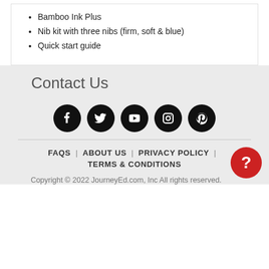Bamboo Ink Plus
Nib kit with three nibs (firm, soft & blue)
Quick start guide
Contact Us
[Figure (infographic): Five social media icons (Facebook, Twitter, YouTube, Instagram, Pinterest) as white icons on black circles]
FAQS | ABOUT US | PRIVACY POLICY | TERMS & CONDITIONS
Copyright © 2022 JourneyEd.com, Inc All rights reserved.